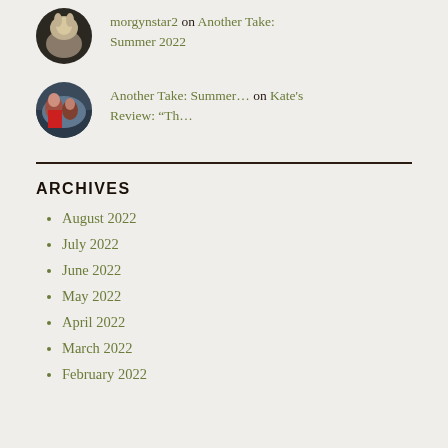[Figure (photo): Circular avatar showing a light-colored animal (possibly a horse or llama) against a dark background]
morgynstar2 on Another Take: Summer 2022
[Figure (photo): Circular avatar showing two people outdoors, one in a red jacket]
Another Take: Summer… on Kate's Review: “Th…
ARCHIVES
August 2022
July 2022
June 2022
May 2022
April 2022
March 2022
February 2022